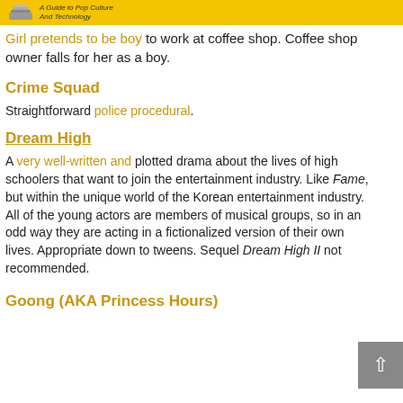A Guide to Pop Culture And Technology
Girl pretends to be boy to work at coffee shop. Coffee shop owner falls for her as a boy.
Crime Squad
Straightforward police procedural.
Dream High
A very well-written and plotted drama about the lives of high schoolers that want to join the entertainment industry. Like Fame, but within the unique world of the Korean entertainment industry. All of the young actors are members of musical groups, so in an odd way they are acting in a fictionalized version of their own lives. Appropriate down to tweens. Sequel Dream High II not recommended.
Goong (AKA Princess Hours)